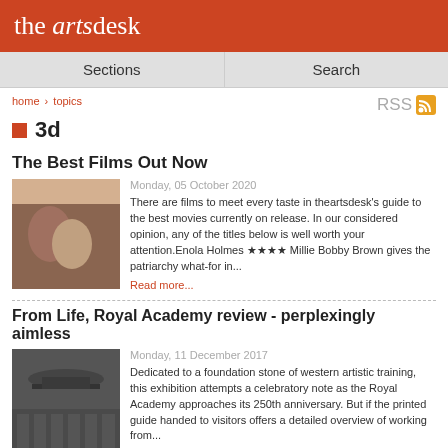the arts desk
Sections | Search
home > topics
3d
The Best Films Out Now
Monday, 05 October 2020
[Figure (photo): Photo of two women at a table]
There are films to meet every taste in theartsdesk's guide to the best movies currently on release. In our considered opinion, any of the titles below is well worth your attention.Enola Holmes ★★★★ Millie Bobby Brown gives the patriarchy what-for in...
Read more...
From Life, Royal Academy review - perplexingly aimless
Monday, 11 December 2017
[Figure (photo): Black and white historical photo of an art academy]
Dedicated to a foundation stone of western artistic training, this exhibition attempts a celebratory note as the Royal Academy approaches its 250th anniversary. But if the printed guide handed to visitors offers a detailed overview of working from...
Read more...